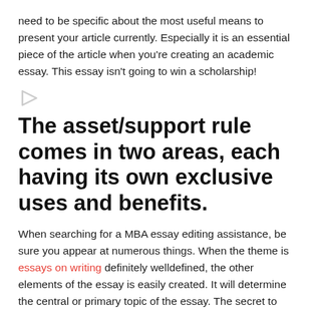need to be specific about the most useful means to present your article currently. Especially it is an essential piece of the article when you're creating an academic essay. This essay isn't going to win a scholarship!
[Figure (illustration): Small play/arrow icon in light gray]
The asset/support rule comes in two areas, each having its own exclusive uses and benefits.
When searching for a MBA essay editing assistance, be sure you appear at numerous things. When the theme is essays on writing definitely welldefined, the other elements of the essay is easily created. It will determine the central or primary topic of the essay. The secret to creating a well- composed composition might be to reveal the judges as opposed to telling them. Attempt these